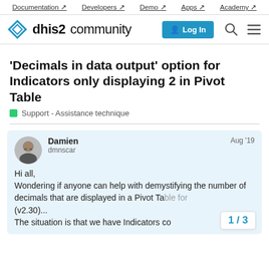Documentation ↗  Developers ↗  Demo ↗  Apps ↗  Academy ↗
[Figure (logo): DHIS2 Community logo with a diamond/shield icon, text 'dhis2 community', Log In button, search and menu icons]
'Decimals in data output' option for Indicators only displaying 2 in Pivot Table
Support - Assistance technique
Damien
dmnscar
Aug '19
Hi all,
Wondering if anyone can help with demystifying the number of decimals that are displayed in a Pivot Table for (v2.30)...
The situation is that we have Indicators co
1 / 3